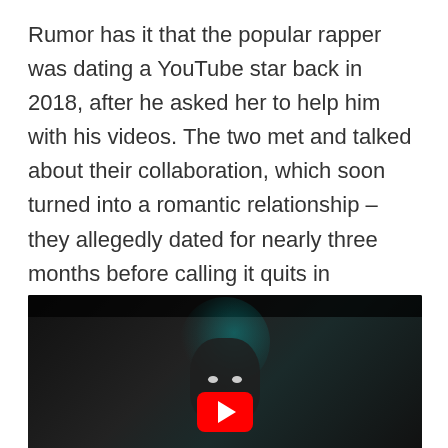Rumor has it that the popular rapper was dating a YouTube star back in 2018, after he asked her to help him with his videos. The two met and talked about their collaboration, which soon turned into a romantic relationship – they allegedly dated for nearly three months before calling it quits in November 2018, apparently due to a lack of time to see each other.
[Figure (screenshot): A dark video thumbnail showing a person's face with a teal/blue-green lighting effect, with a red YouTube play button overlay at the bottom center.]